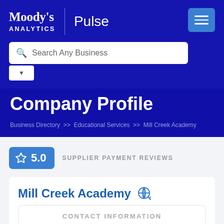[Figure (logo): Moody's Analytics Pulse logo with hamburger menu button and search bar]
Company Profile
Business Directory >> Educational Services >> Mill Creek Academy
[Figure (infographic): 5.0 star rating badge with SUPPLIER PAYMENT REVIEWS label]
Mill Creek Academy
CONTACT INFORMATION